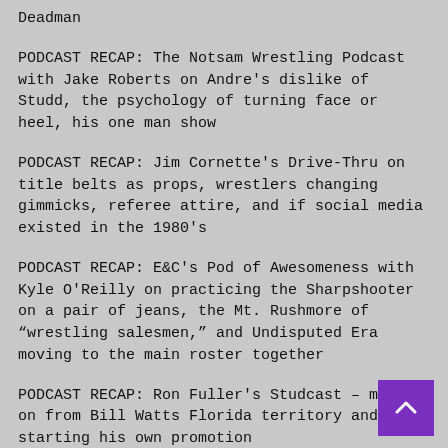Deadman
PODCAST RECAP: The Notsam Wrestling Podcast with Jake Roberts on Andre's dislike of Studd, the psychology of turning face or heel, his one man show
PODCAST RECAP: Jim Cornette's Drive-Thru on title belts as props, wrestlers changing gimmicks, referee attire, and if social media existed in the 1980's
PODCAST RECAP: E&C's Pod of Awesomeness with Kyle O'Reilly on practicing the Sharpshooter on a pair of jeans, the Mt. Rushmore of “wrestling salesmen,” and Undisputed Era moving to the main roster together
PODCAST RECAP: Ron Fuller's Studcast – moving on from Bill Watts Florida territory and starting his own promotion
PODCAST RECAP: 83 Weeks on Superbrawl III, the turmoil and promise surrounding one of WCW biggest